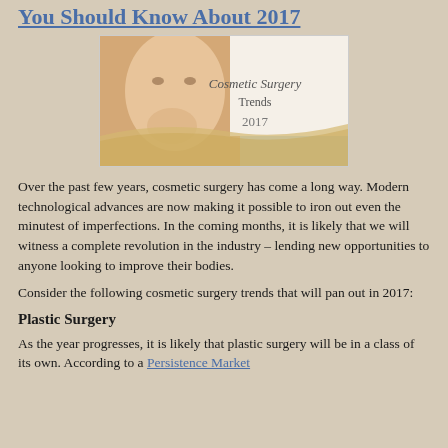You Should Know About 2017
[Figure (illustration): Cosmetic Surgery Trends 2017 banner image with a woman touching her face and decorative script text reading 'Cosmetic Surgery Trends 2017']
Over the past few years, cosmetic surgery has come a long way. Modern technological advances are now making it possible to iron out even the minutest of imperfections. In the coming months, it is likely that we will witness a complete revolution in the industry – lending new opportunities to anyone looking to improve their bodies.
Consider the following cosmetic surgery trends that will pan out in 2017:
Plastic Surgery
As the year progresses, it is likely that plastic surgery will be in a class of its own. According to a Persistence Market